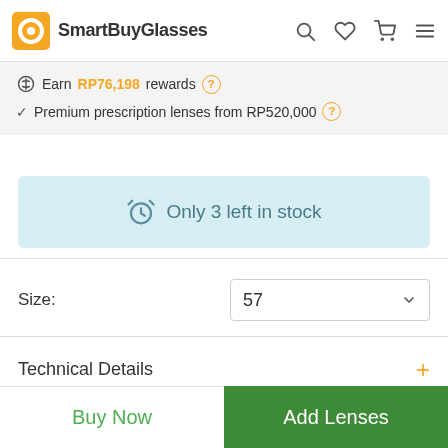SmartBuyGlasses
Earn RP76,198 rewards
Premium prescription lenses from RP520,000
Only 3 left in stock
Size: 57
Technical Details
Prescription Lenses
Buy Now
Add Lenses